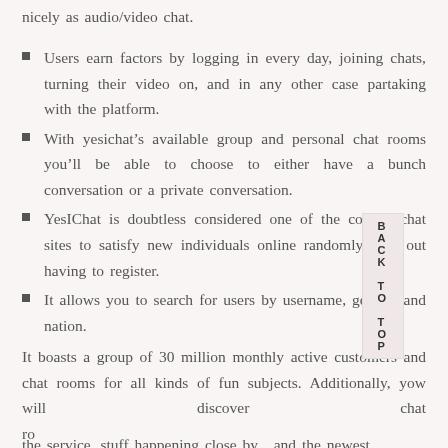nicely as audio/video chat.
Users earn factors by logging in every day, joining chats, turning their video on, and in any other case partaking with the platform.
With yesichat’s available group and personal chat rooms you’ll be able to choose to either have a bunch conversation or a private conversation.
YesIChat is doubtless considered one of the coolest chat sites to satisfy new individuals online randomly with out having to register.
It allows you to search for users by username, gender, and nation.
It boasts a group of 30 million monthly active customers and chat rooms for all kinds of fun subjects. Additionally, yow will discover chat ro the service, stuff happening close by , and the newest